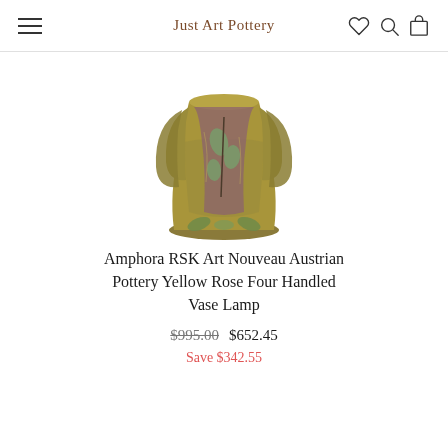Just Art Pottery
[Figure (photo): Amphora RSK Art Nouveau Austrian Pottery Yellow Rose Four Handled Vase Lamp — a ceramic vase with four handles and floral leaf decoration on a yellow-green glaze, viewed from the front]
Amphora RSK Art Nouveau Austrian Pottery Yellow Rose Four Handled Vase Lamp
$995.00  $652.45
Save $342.55